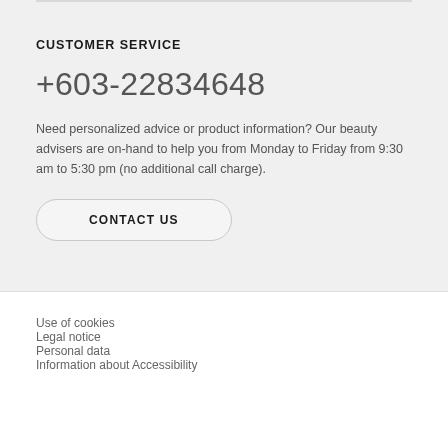CUSTOMER SERVICE
+603-22834648
Need personalized advice or product information? Our beauty advisers are on-hand to help you from Monday to Friday from 9:30 am to 5:30 pm (no additional call charge).
CONTACT US
Use of cookies
Legal notice
Personal data
Information about Accessibility